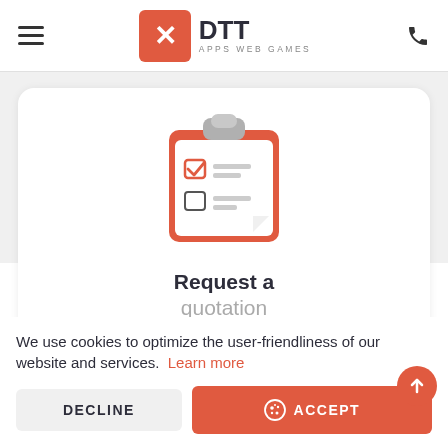DTT APPS WEB GAMES
[Figure (illustration): Clipboard icon with checklist items, rendered in red/dark grey colors]
Request a quotation
We use cookies to optimize the user-friendliness of our website and services. Learn more
DECLINE
ACCEPT